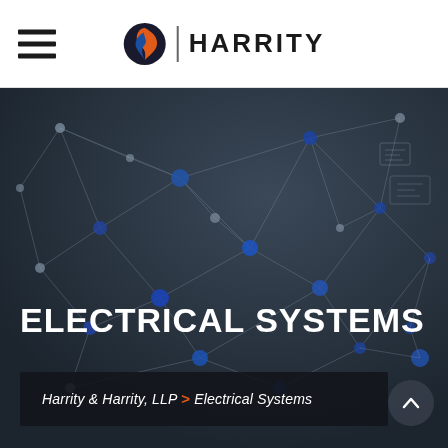[Figure (logo): Harrity law firm logo with orange flame/S icon and vertical divider followed by HARRITY wordmark in bold]
[Figure (photo): Dark hero background image showing a network/technology connection diagram with blue nodes and connecting lines on dark grey background]
ELECTRICAL SYSTEMS
Harrity & Harrity, LLP > Electrical Systems